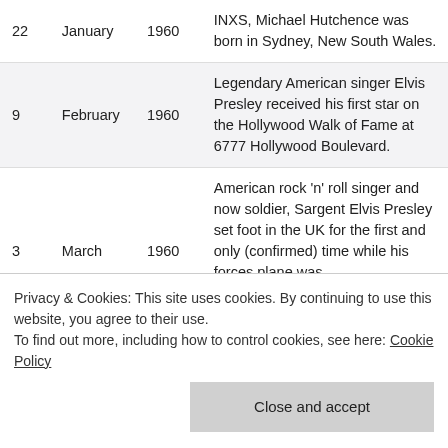| Day | Month | Year | Description |
| --- | --- | --- | --- |
| 22 | January | 1960 | INXS, Michael Hutchence was born in Sydney, New South Wales. |
| 9 | February | 1960 | Legendary American singer Elvis Presley received his first star on the Hollywood Walk of Fame at 6777 Hollywood Boulevard. |
| 3 | March | 1960 | American rock ‘n’ roll singer and now soldier, Sargent Elvis Presley set foot in the UK for the first and only (confirmed) time while his forces plane was known as a member of rock |
Privacy & Cookies: This site uses cookies. By continuing to use this website, you agree to their use.
To find out more, including how to control cookies, see here: Cookie Policy